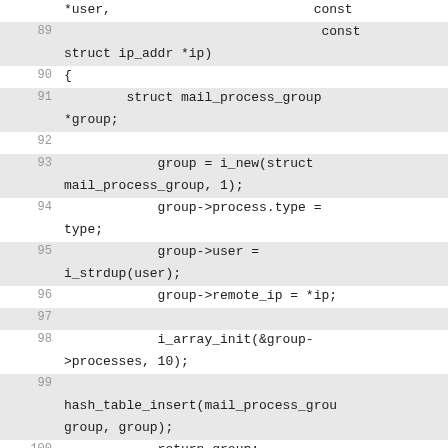Code listing lines 89-107, C source code for mail process group functions
89: *user,                          const
   struct ip_addr *ip)
90: {
91:         struct mail_process_group *group;
92: (blank)
93:             group = i_new(struct mail_process_group, 1);
94:             group->process.type = type;
95:             group->user = i_strdup(user);
96:             group->remote_ip = *ip;
97: (blank)
98:             i_array_init(&group->processes, 10);
99: (blank)
   hash_table_insert(mail_process_group, group, group);
100:             return group;
101: }
102: (blank)
103: static void
104: mail_process_group_add(struct mail_process_group *group, pid_t pid)
105: {
106:             mail_process_count++;
107: array_append(&group...